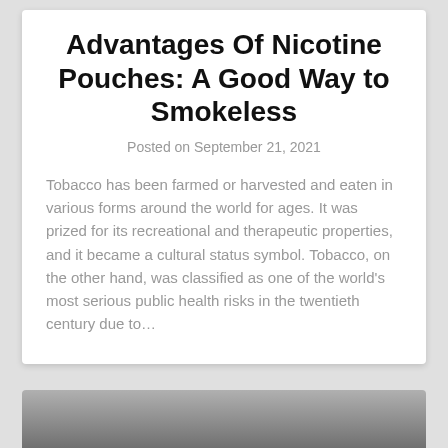Advantages Of Nicotine Pouches: A Good Way to Smokeless
Posted on September 21, 2021
Tobacco has been farmed or harvested and eaten in various forms around the world for ages. It was prized for its recreational and therapeutic properties, and it became a cultural status symbol. Tobacco, on the other hand, was classified as one of the world's most serious public health risks in the twentieth century due to…
[Figure (photo): Partial view of a photo at the bottom of the page, appears to show a person in front of a brick wall]